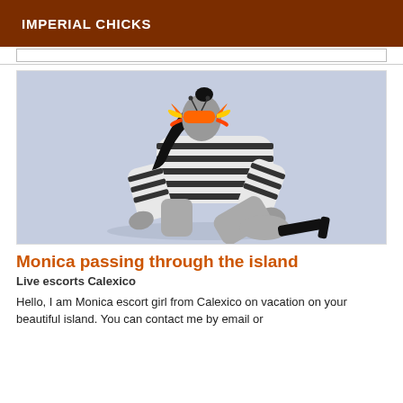IMPERIAL CHICKS
[Figure (photo): Woman in black and white striped outfit on all fours, wearing a colorful butterfly mask over her face, with black high heels, against a light blue-grey background.]
Monica passing through the island
Live escorts Calexico
Hello, I am Monica escort girl from Calexico on vacation on your beautiful island. You can contact me by email or